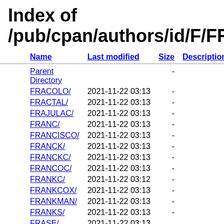Index of /pub/cpan/authors/id/F/FR
| Name | Last modified | Size | Description |
| --- | --- | --- | --- |
| Parent Directory |  | - |  |
| FRACOLO/ | 2021-11-22 03:13 | - |  |
| FRACTAL/ | 2021-11-22 03:13 | - |  |
| FRAJULAC/ | 2021-11-22 03:13 | - |  |
| FRANC/ | 2021-11-22 03:13 | - |  |
| FRANCISCO/ | 2021-11-22 03:13 | - |  |
| FRANCK/ | 2021-11-22 03:13 | - |  |
| FRANCKC/ | 2021-11-22 03:13 | - |  |
| FRANCOC/ | 2021-11-22 03:13 | - |  |
| FRANKC/ | 2021-11-22 03:12 | - |  |
| FRANKCOX/ | 2021-11-22 03:13 | - |  |
| FRANKMAN/ | 2021-11-22 03:13 | - |  |
| FRANKS/ | 2021-11-22 03:13 | - |  |
| FRASE/ | 2021-11-22 03:13 |  |  |